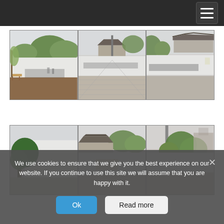[Figure (photo): Three side-by-side outdoor photos showing a traditional Chinese garden/temple courtyard with white walls, bonsai displays on tables, visitors walking, and traditional architecture visible in the background]
[Figure (photo): Three side-by-side outdoor photos showing closer views of bonsai trees and traditional Chinese architecture with white walls and tiled roofs]
We use cookies to ensure that we give you the best experience on our website. If you continue to use this site we will assume that you are happy with it.